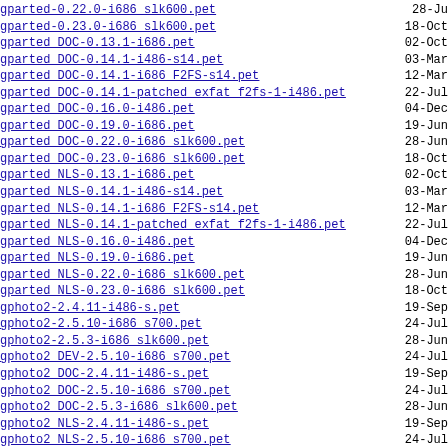gparted-0.22.0-i686_slk600.pet
gparted-0.23.0-i686_slk600.pet
gparted DOC-0.13.1-i686.pet
gparted DOC-0.14.1-i486-s14.pet
gparted DOC-0.14.1-i686_F2FS-s14.pet
gparted DOC-0.14.1-patched_exfat_f2fs-1-i486.pet
gparted DOC-0.16.0-i486.pet
gparted DOC-0.19.0-i686.pet
gparted DOC-0.22.0-i686_slk600.pet
gparted DOC-0.23.0-i686_slk600.pet
gparted NLS-0.13.1-i686.pet
gparted NLS-0.14.1-i486-s14.pet
gparted NLS-0.14.1-i686_F2FS-s14.pet
gparted NLS-0.14.1-patched_exfat_f2fs-1-i486.pet
gparted NLS-0.16.0-i486.pet
gparted NLS-0.19.0-i686.pet
gparted NLS-0.22.0-i686_slk600.pet
gparted NLS-0.23.0-i686_slk600.pet
gphoto2-2.4.11-i486-s.pet
gphoto2-2.5.10-i686_s700.pet
gphoto2-2.5.3-i686_slk600.pet
gphoto2 DEV-2.5.10-i686_s700.pet
gphoto2 DOC-2.4.11-i486-s.pet
gphoto2 DOC-2.5.10-i686_s700.pet
gphoto2 DOC-2.5.3-i686_slk600.pet
gphoto2 NLS-2.4.11-i486-s.pet
gphoto2 NLS-2.5.10-i686_s700.pet
gphoto2 NLS-2.5.3-i686_slk600.pet
gphotofs-0.4.0-w5c.pet
gphotofs-0.5-i686_s700.pet
gphotofs-0.5-i686_slk600.pet